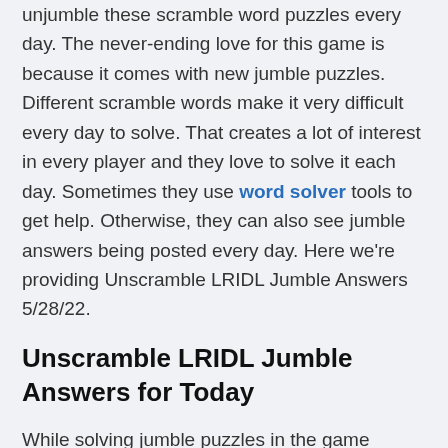unjumble these scramble word puzzles every day. The never-ending love for this game is because it comes with new jumble puzzles. Different scramble words make it very difficult every day to solve. That creates a lot of interest in every player and they love to solve it each day. Sometimes they use word solver tools to get help. Otherwise, they can also see jumble answers being posted every day. Here we're providing Unscramble LRIDL Jumble Answers 5/28/22.
Unscramble LRIDL Jumble Answers for Today
While solving jumble puzzles in the game people need points to earn with every solution that makes the different word to answer and the